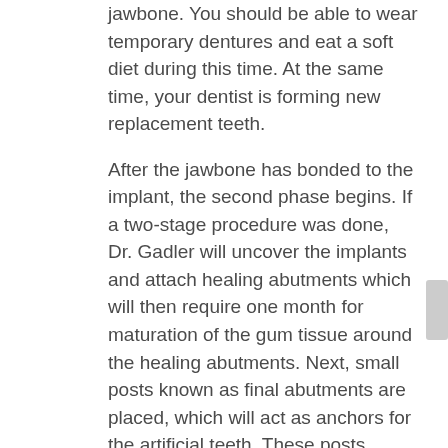jawbone. You should be able to wear temporary dentures and eat a soft diet during this time. At the same time, your dentist is forming new replacement teeth.
After the jawbone has bonded to the implant, the second phase begins. If a two-stage procedure was done, Dr. Gadler will uncover the implants and attach healing abutments which will then require one month for maturation of the gum tissue around the healing abutments. Next, small posts known as final abutments are placed, which will act as anchors for the artificial teeth. These posts protrude through the gums.
Usually, Dr. Gadler will seat the final abutment and send your general dentist everything he/she will need to complete the process (impression cap, lab analog, & 2nd impression cap to be ground down & used as a temporary cap by your general dentist).